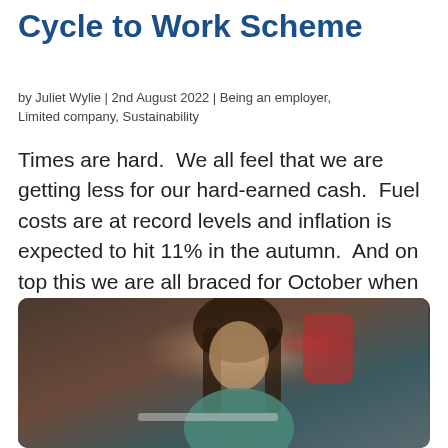Cycle to Work Scheme
by Juliet Wylie | 2nd August 2022 | Being an employer, Limited company, Sustainability
Times are hard.  We all feel that we are getting less for our hard-earned cash.  Fuel costs are at record levels and inflation is expected to hit 11% in the autumn.  And on top this we are all braced for October when the energy price cap increases again.  Money is…
[Figure (photo): A young woman with long brown hair looking down at a laptop, seated in what appears to be a kitchen or cafe setting with a red appliance visible in the background.]